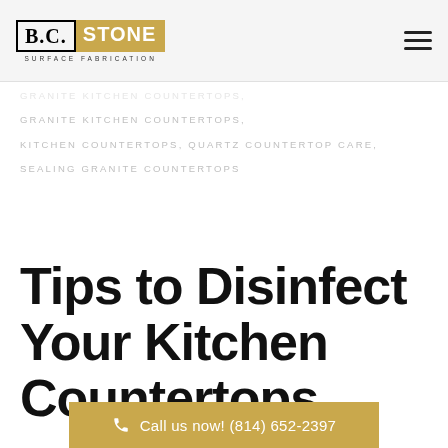B.C. STONE SURFACE FABRICATION
GRANITE KITCHEN COUNTERTOPS,
KITCHEN COUNTERTOPS, QUARTZ COUNTERTOP CARE,
SEALING GRANITE COUNTERTOPS
Tips to Disinfect Your Kitchen Countertops
Call us now! (814) 652-2397